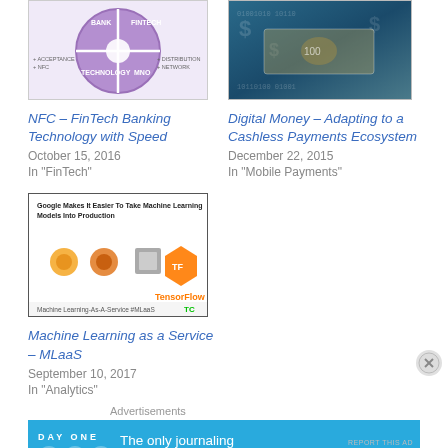[Figure (illustration): NFC FinTech banking diagram with purple circular graphic showing BANK, FINTECH, TECHNOLOGY, MNO quadrants]
NFC – FinTech Banking Technology with Speed
October 15, 2016
In "FinTech"
[Figure (photo): Digital money photo showing dollar bills on blue digital background]
Digital Money – Adapting to a Cashless Payments Ecosystem
December 22, 2015
In "Mobile Payments"
[Figure (screenshot): Screenshot of TechCrunch article: Google Makes It Easier To Take Machine Learning Models into Production, showing TensorFlow logo and MLaaS hashtag]
Machine Learning as a Service – MLaaS
September 10, 2017
In "Analytics"
Advertisements
[Figure (illustration): Day One journaling app advertisement banner in blue: DAY ONE – The only journaling app you'll ever need.]